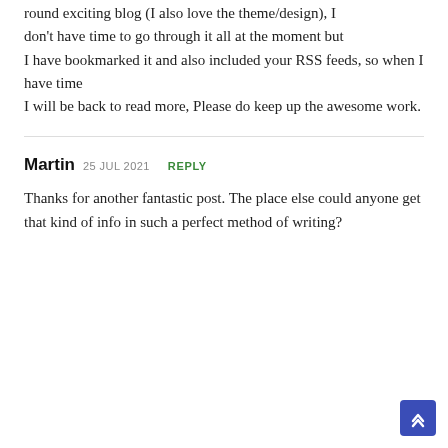round exciting blog (I also love the theme/design), I don't have time to go through it all at the moment but I have bookmarked it and also included your RSS feeds, so when I have time I will be back to read more, Please do keep up the awesome work.
Martin 25 JUL 2021 REPLY
Thanks for another fantastic post. The place else could anyone get that kind of info in such a perfect method of writing?